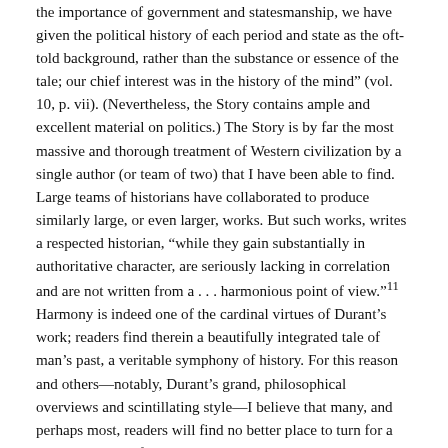the importance of government and statesmanship, we have given the political history of each period and state as the oft-told background, rather than the substance or essence of the tale; our chief interest was in the history of the mind" (vol. 10, p. vii). (Nevertheless, the Story contains ample and excellent material on politics.) The Story is by far the most massive and thorough treatment of Western civilization by a single author (or team of two) that I have been able to find. Large teams of historians have collaborated to produce similarly large, or even larger, works. But such works, writes a respected historian, “while they gain substantially in authoritative character, are seriously lacking in correlation and are not written from a . . . harmonious point of view.”11 Harmony is indeed one of the cardinal virtues of Durant’s work; readers find therein a beautifully integrated tale of man’s past, a veritable symphony of history. For this reason and others—notably, Durant’s grand, philosophical overviews and scintillating style—I believe that many, and perhaps most, readers will find no better place to turn for a large treatment of Western civilization than The Story